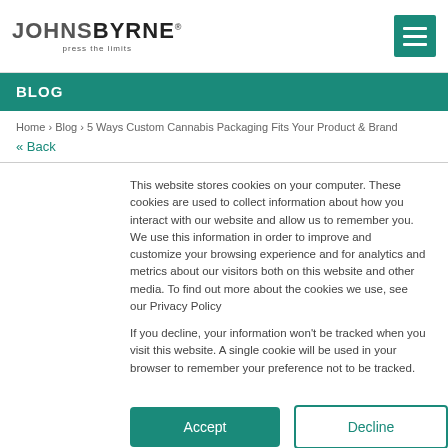JOHNSBYRNE® press the limits
BLOG
Home › Blog › 5 Ways Custom Cannabis Packaging Fits Your Product & Brand
« Back
This website stores cookies on your computer. These cookies are used to collect information about how you interact with our website and allow us to remember you. We use this information in order to improve and customize your browsing experience and for analytics and metrics about our visitors both on this website and other media. To find out more about the cookies we use, see our Privacy Policy

If you decline, your information won't be tracked when you visit this website. A single cookie will be used in your browser to remember your preference not to be tracked.
Accept
Decline